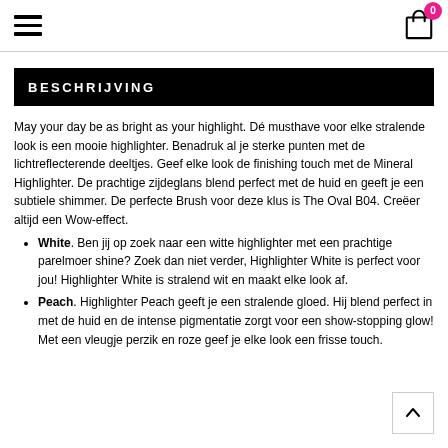≡  [cart icon] 0
BESCHRIJVING
May your day be as bright as your highlight. Dé musthave voor elke stralende look is een mooie highlighter. Benadruk al je sterke punten met de lichtreflecterende deeltjes. Geef elke look de finishing touch met de Mineral Highlighter. De prachtige zijdeglans blend perfect met de huid en geeft je een subtiele shimmer. De perfecte Brush voor deze klus is The Oval B04. Creëer altijd een Wow-effect.
White. Ben jij op zoek naar een witte highlighter met een prachtige parelmoer shine? Zoek dan niet verder, Highlighter White is perfect voor jou! Highlighter White is stralend wit en maakt elke look af.
Peach. Highlighter Peach geeft je een stralende gloed. Hij blend perfect in met de huid en de intense pigmentatie zorgt voor een show-stopping glow! Met een vleugje perzik en roze geef je elke look een frisse touch.